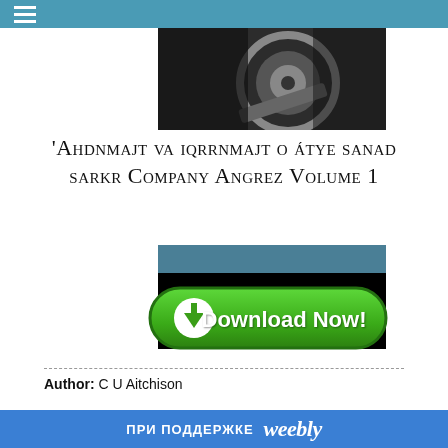☰
[Figure (photo): Industrial machinery close-up, showing a rotating metal disc or grinding wheel with mechanical components in dark surroundings.]
'Ahdnmajt va iqrrnmajt o átye sanad sarkr Company Angrez Volume 1
[Figure (screenshot): Book cover preview panel with dark background and teal/blue header strip.]
[Figure (infographic): Green Download Now button with downward arrow icon.]
Author: C U Aitchison
ПРИ ПОДДЕРЖКЕ  weebly